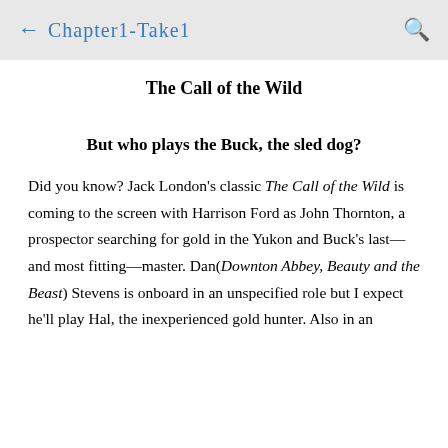← Chapter1-Take1
The Call of the Wild
But who plays the Buck, the sled dog?
Did you know? Jack London's classic The Call of the Wild is coming to the screen with Harrison Ford as John Thornton, a prospector searching for gold in the Yukon and Buck's last—and most fitting—master. Dan(Downton Abbey, Beauty and the Beast) Stevens is onboard in an unspecified role but I expect he'll play Hal, the inexperienced gold hunter. Also in an